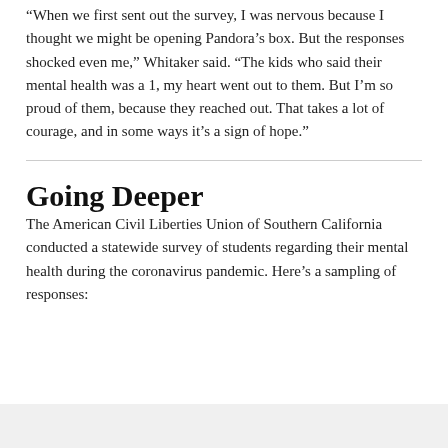“When we first sent out the survey, I was nervous because I thought we might be opening Pandora’s box. But the responses shocked even me,” Whitaker said. “The kids who said their mental health was a 1, my heart went out to them. But I’m so proud of them, because they reached out. That takes a lot of courage, and in some ways it’s a sign of hope.”
Going Deeper
The American Civil Liberties Union of Southern California conducted a statewide survey of students regarding their mental health during the coronavirus pandemic. Here’s a sampling of responses: